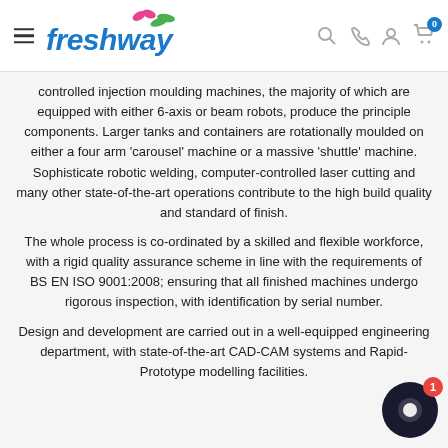freshway — navigation header with hamburger menu, logo, search, phone, account, and cart icons
controlled injection moulding machines, the majority of which are equipped with either 6-axis or beam robots, produce the principle components. Larger tanks and containers are rotationally moulded on either a four arm 'carousel' machine or a massive 'shuttle' machine. Sophisticate robotic welding, computer-controlled laser cutting and many other state-of-the-art operations contribute to the high build quality and standard of finish.
The whole process is co-ordinated by a skilled and flexible workforce, with a rigid quality assurance scheme in line with the requirements of BS EN ISO 9001:2008; ensuring that all finished machines undergo rigorous inspection, with identification by serial number.
Design and development are carried out in a well-equipped engineering department, with state-of-the-art CAD-CAM systems and Rapid-Prototype modelling facilities.